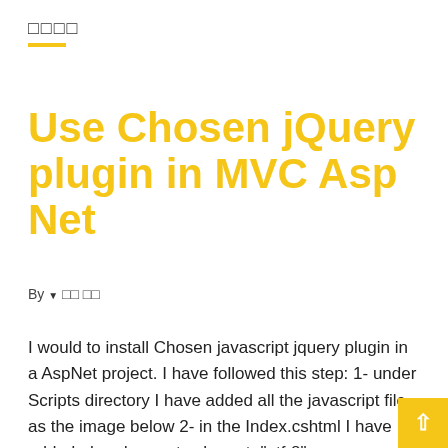□□□□
Use Chosen jQuery plugin in MVC Asp Net
By ▼ □□ □□
I would to install Chosen javascript jquery plugin in a AspNet project. I have followed this step: 1- under Scripts directory I have added all the javascript file as the image below 2- in the Index.cshtml I have added <head> <meta charset="utf-8"> <title>Chosen: A jQuery Plugin by Harvest to Tame...